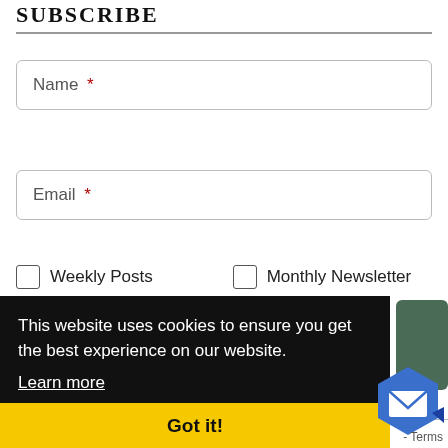SUBSCRIBE
Name *
Email *
Weekly Posts
Monthly Newsletter
This website uses cookies to ensure you get the best experience on our website.
Learn more
Got it!
Terms